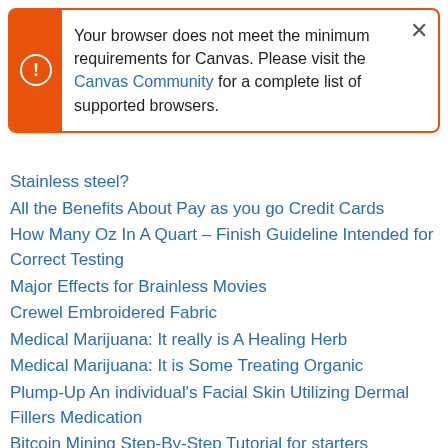Your browser does not meet the minimum requirements for Canvas. Please visit the Canvas Community for a complete list of supported browsers.
Stainless steel?
All the Benefits About Pay as you go Credit Cards
How Many Oz In A Quart – Finish Guideline Intended for Correct Testing
Major Effects for Brainless Movies
Crewel Embroidered Fabric
Medical Marijuana: It really is A Healing Herb
Medical Marijuana: It is Some Treating Organic
Plump-Up An individual's Facial Skin Utilizing Dermal Fillers Medication
Bitcoin Mining Step-By-Step Tutorial for starters
The essentials about Vape Pens lenses
Basic fundamentals connected with Vape Pens
Clinical and even recreational marijuana For Sale
Medical and Recreational Marijuana Available for...